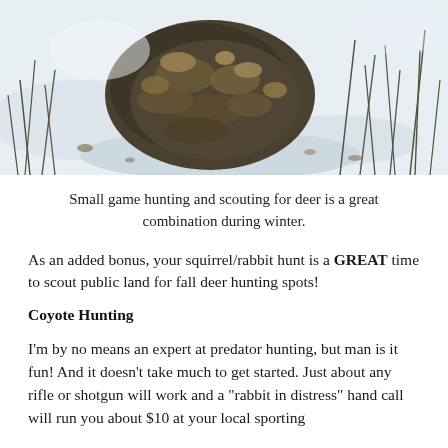[Figure (photo): A snowy outdoor scene showing a patch of dark leaves and forest debris on white snow, with dried grasses and plant stems scattered around.]
Small game hunting and scouting for deer is a great combination during winter.
As an added bonus, your squirrel/rabbit hunt is a GREAT time to scout public land for fall deer hunting spots!
Coyote Hunting
I'm by no means an expert at predator hunting, but man is it fun! And it doesn't take much to get started. Just about any rifle or shotgun will work and a “rabbit in distress” hand call will run you about $10 at your local sporting